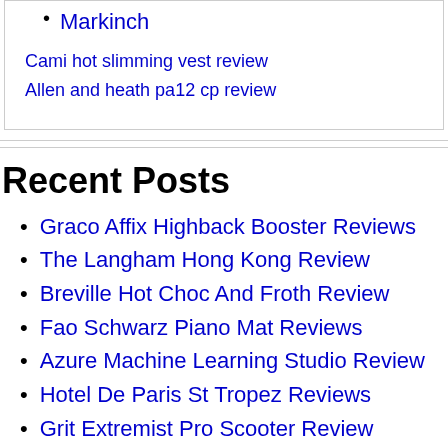Markinch
Cami hot slimming vest review
Allen and heath pa12 cp review
Recent Posts
Graco Affix Highback Booster Reviews
The Langham Hong Kong Review
Breville Hot Choc And Froth Review
Fao Schwarz Piano Mat Reviews
Azure Machine Learning Studio Review
Hotel De Paris St Tropez Reviews
Grit Extremist Pro Scooter Review